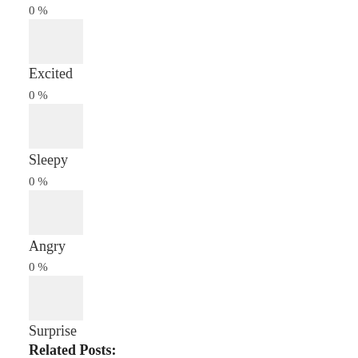0 %
[Figure (other): Empty light gray bar/box representing 0% for Excited]
Excited
0 %
[Figure (other): Empty light gray bar/box representing 0% for Sleepy]
Sleepy
0 %
[Figure (other): Empty light gray bar/box representing 0% for Angry]
Angry
0 %
[Figure (other): Empty light gray bar/box representing 0% for Surprise]
Surprise
0 %
Related Posts: